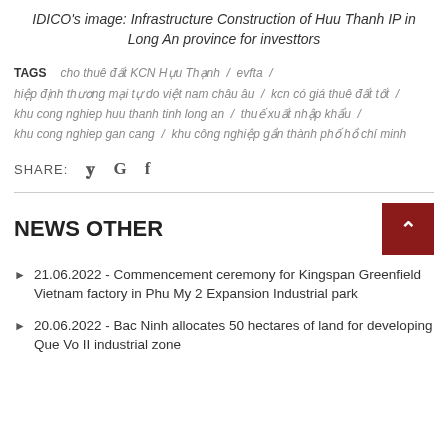IDICO's image: Infrastructure Construction of Huu Thanh IP in Long An province for investtors
TAGS  cho thuê đất KCN Hựu Thạnh / evfta / hiệp định thương mại tự do việt nam châu âu / kcn có giá thuê đất tốt / khu cong nghiep huu thanh tinh long an / thuế xuất nhập khẩu / khu cong nghiep gan cang / khu công nghiệp gần thành phố hồ chí minh
SHARE:
NEWS OTHER
21.06.2022 - Commencement ceremony for Kingspan Greenfield Vietnam factory in Phu My 2 Expansion Industrial park
20.06.2022 - Bac Ninh allocates 50 hectares of land for developing Que Vo II industrial zone